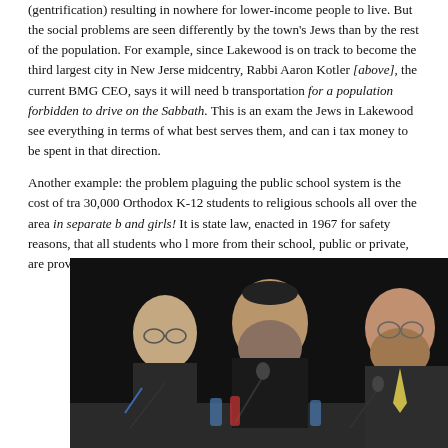(gentrification) resulting in nowhere for lower-income people to live. But the social problems are seen differently by the town's Jews than by the rest of the population. For example, since Lakewood is on track to become the third largest city in New Jersey by midcentry, Rabbi Aaron Kotler [above], the current BMG CEO, says it will need better transportation for a population forbidden to drive on the Sabbath. This is an example of the Jews in Lakewood see everything in terms of what best serves them, and can influence tax money to be spent in that direction.
Another example: the problem plaguing the public school system is the cost of transporting 30,000 Orthodox K-12 students to religious schools all over the area in separate buses for boys and girls! It is state law, enacted in 1967 for safety reasons, that all students who live 2 miles or more from their school, public or private, are provided with free transportation.
[Figure (photo): Three men seated at a panel table speaking into microphones. The center man has a beard and wears a black kippah, speaking into a microphone. To his left is a man with glasses in a suit, and to his right is a bearded man with glasses wearing a light-colored tie.]